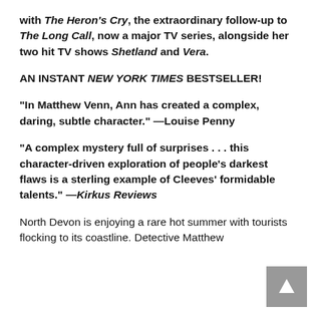with The Heron's Cry, the extraordinary follow-up to The Long Call, now a major TV series, alongside her two hit TV shows Shetland and Vera.
AN INSTANT NEW YORK TIMES BESTSELLER!
"In Matthew Venn, Ann has created a complex, daring, subtle character." —Louise Penny
"A complex mystery full of surprises . . . this character-driven exploration of people's darkest flaws is a sterling example of Cleeves' formidable talents." —Kirkus Reviews
North Devon is enjoying a rare hot summer with tourists flocking to its coastline. Detective Matthew